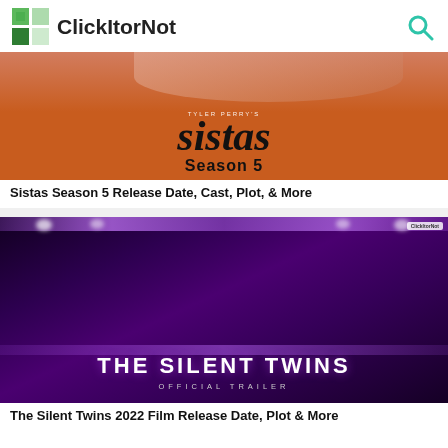ClickItorNot
[Figure (photo): Sistas Season 5 promotional banner with orange background and show title text]
Sistas Season 5 Release Date, Cast, Plot, & More
[Figure (photo): The Silent Twins 2022 film official trailer thumbnail showing two women in purple-lit corridor with title text]
The Silent Twins 2022 Film Release Date, Plot & More